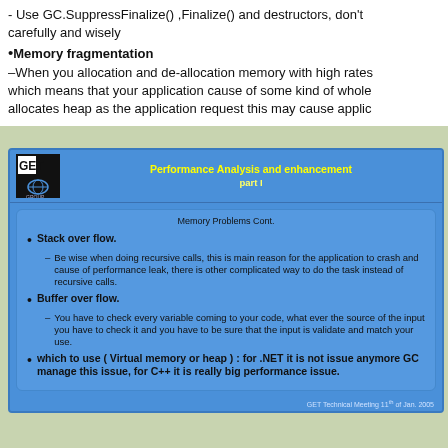- Use GC.SuppressFinalize() ,Finalize() and destructors, don't carefully and wisely
•Memory fragmentation
–When you allocation and de-allocation memory with high rates which means that your application cause of some kind of whole allocates heap as the application request this may cause applic
[Figure (screenshot): Slide titled 'Performance Analysis and enhancement part I' with GET GROUP logo. Content box titled 'Memory Problems Cont.' with bullets: Stack over flow (sub: Be wise when doing recursive calls, this is main reason for the application to crash and cause of performance leak, there is other complicated way to do the task instead of recursive calls.), Buffer over flow (sub: You have to check every variable coming to your code, what ever the source of the input you have to check it and you have to be sure that the input is validate and match your use.), which to use (Virtual memory or heap): for .NET it is not issue anymore GC manage this issue, for C++ it is really big performance issue. Footer: GET Technical Meeting 11th of Jan. 2005]